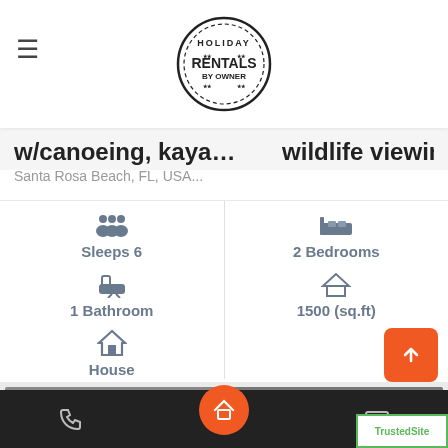Holiday Rentals By Owner logo
w/canoeing, kaya... wildlife viewing
Santa Rosa Beach, FL, USA...
Sleeps 6
2 Bedrooms
1 Bathroom
1500 (sq.ft)
House
[Figure (photo): Two property photos: dark room interior and ceiling fan]
Navigation bar with phone, home, mail icons and TrustedSite badge